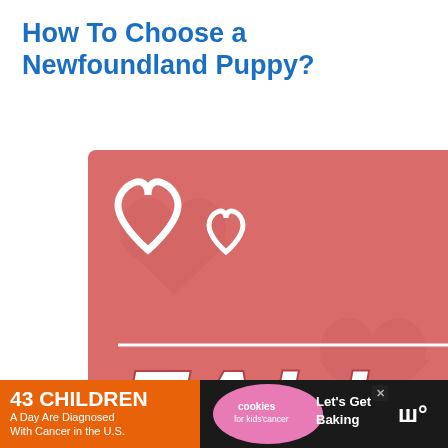How To Choose a Newfoundland Puppy?
[Figure (illustration): Pet adoption advertisement banner with pink background featuring hearts, a black and white cat, a fluffy white dog, and bold white italic text reading 'FALL IN LOVE'. An X close button is in the top right. A purple scroll-to-top button with an upward chevron appears to the right.]
[Figure (illustration): Bottom advertisement banner with dark background. Left section in orange: '43 CHILDREN A Day Are Diagnosed With Cancer in the U.S.' Center: 'cookies for kids cancer' logo. Right section: 'Let's Get Baking' with a cookie image. Far right: Moody's 'M' logo icon. X close button present.]